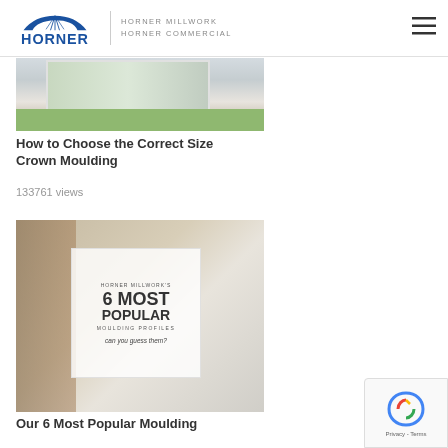HORNER | HORNER MILLWORK  HORNER COMMERCIAL
[Figure (photo): Window seat with green cushion and white trim millwork, large windows in background]
How to Choose the Correct Size Crown Moulding
133761 views
[Figure (photo): Staircase with white millwork, overlay graphic reading HORNER MILLWORK'S 6 MOST POPULAR MOULDING PROFILES can you guess them?]
Our 6 Most Popular Moulding